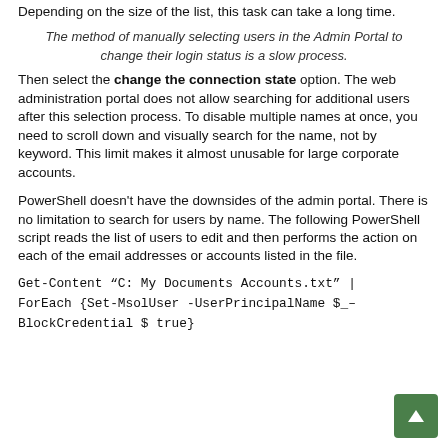Depending on the size of the list, this task can take a long time.
The method of manually selecting users in the Admin Portal to change their login status is a slow process.
Then select the change the connection state option. The web administration portal does not allow searching for additional users after this selection process. To disable multiple names at once, you need to scroll down and visually search for the name, not by keyword. This limit makes it almost unusable for large corporate accounts.
PowerShell doesn't have the downsides of the admin portal. There is no limitation to search for users by name. The following PowerShell script reads the list of users to edit and then performs the action on each of the email addresses or accounts listed in the file.
Get-Content “C: My Documents Accounts.txt” | ForEach {Set-MsolUser -UserPrincipalName $_ -BlockCredential $ true}